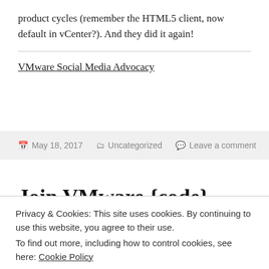product cycles (remember the HTML5 client, now default in vCenter?). And they did it again!
VMware Social Media Advocacy
May 18, 2017   Uncategorized   Leave a comment
Join VMware {code} with more than 2164...
Privacy & Cookies: This site uses cookies. By continuing to use this website, you agree to their use.
To find out more, including how to control cookies, see here: Cookie Policy
Close and accept
[Figure (photo): Image bar at bottom showing VMWARE {CODE} AND VMWARE DEVELOPER CENTER ARE NOW ONE]